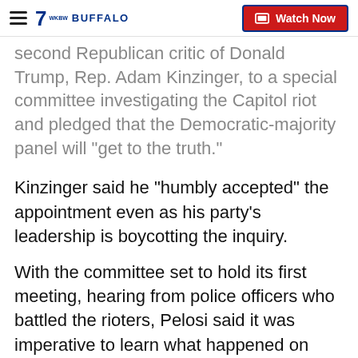7 BUFFALO | Watch Now
second Republican critic of Donald Trump, Rep. Adam Kinzinger, to a special committee investigating the Capitol riot and pledged that the Democratic-majority panel will "get to the truth."
Kinzinger said he "humbly accepted" the appointment even as his party's leadership is boycotting the inquiry.
With the committee set to hold its first meeting, hearing from police officers who battled the rioters, Pelosi said it was imperative to learn what happened on Jan. 6, when insurrectionists disrupted the congressional certification of Joe Biden's presidential victory, and why the violent siege took place. That